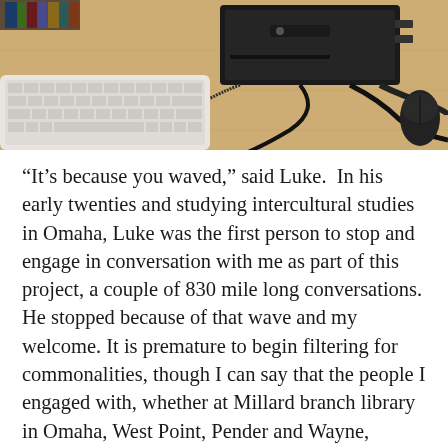[Figure (photo): A photo of a desk with a black computer tower/box, a white keyboard, various cables and peripherals on a light wood surface. Books are visible on a shelf in the background.]
“It’s because you waved,” said Luke.  In his early twenties and studying intercultural studies in Omaha, Luke was the first person to stop and engage in conversation with me as part of this project, a couple of 830 mile long conversations. He stopped because of that wave and my welcome. It is premature to begin filtering for commonalities, though I can say that the people I engaged with, whether at Millard branch library in Omaha, West Point, Pender and Wayne, demonstrated a curiosity and willingness to interact. For his part, Luke had moved when he was 13 to Spain with his family (his Dad did missionary work and was a military contractor). Luke lived in Europe for 5 years. It